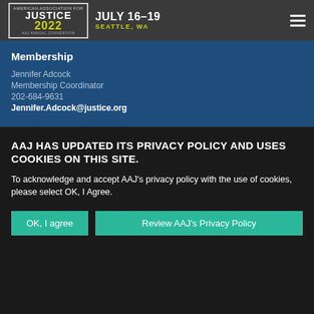JUSTICE 2022 | JULY 16-19 | SEATTLE, WA
Membership
Jennifer Adcock
Membership Coordinator
202-684-9631
Jennifer.Adcock@justice.org
AAJ HAS UPDATED ITS PRIVACY POLICY AND USES COOKIES ON THIS SITE.
To acknowledge and accept AAJ's privacy policy with the use of cookies, please select OK, I Agree.
OK, I agree | Review AAJ's Privacy Policy